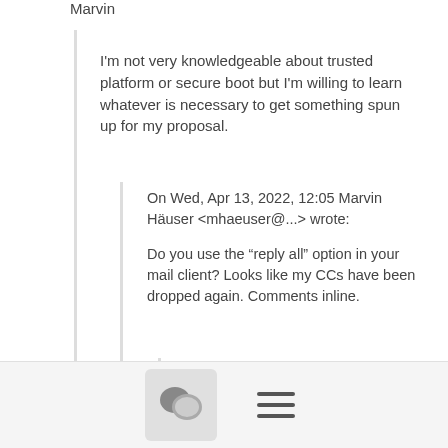Marvin
I'm not very knowledgeable about trusted platform or secure boot but I'm willing to learn whatever is necessary to get something spun up for my proposal.
On Wed, Apr 13, 2022, 12:05 Marvin Häuser <mhaeuser@...> wrote:
Do you use the “reply all” option in your mail client? Looks like my CCs have been dropped again. Comments inline.
On 13. Apr 2022, at 12:54, Ada Christine